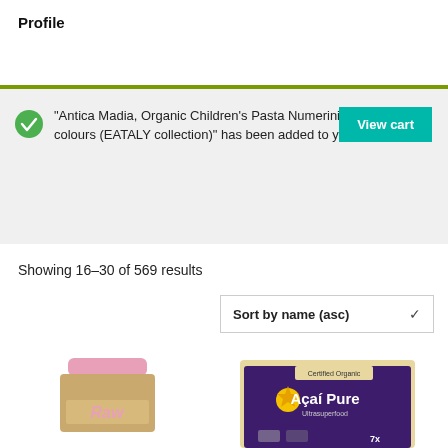Profile
"Antica Madia, Organic Children's Pasta Numerini with natural colours (EATALY collection)" has been added to your cart.
View cart
Showing 16–30 of 569 results
Sort by name (asc)
[Figure (photo): Product image of a pink and gold cylindrical container labeled 'Raw']
[Figure (photo): Product package of 'Açaí Pure' with purple background and 'Certified Organic' label]